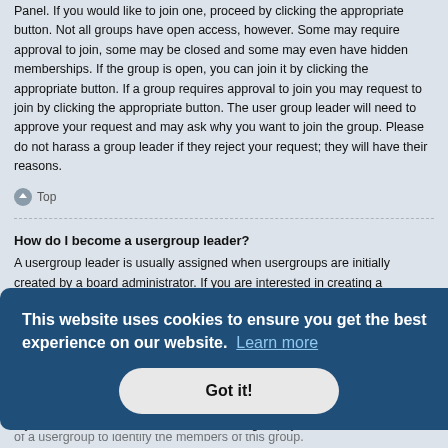Panel. If you would like to join one, proceed by clicking the appropriate button. Not all groups have open access, however. Some may require approval to join, some may be closed and some may even have hidden memberships. If the group is open, you can join it by clicking the appropriate button. If a group requires approval to join you may request to join by clicking the appropriate button. The user group leader will need to approve your request and may ask why you want to join the group. Please do not harass a group leader if they reject your request; they will have their reasons.
Top
How do I become a usergroup leader?
A usergroup leader is usually assigned when usergroups are initially created by a board administrator. If you are interested in creating a usergroup, your first point of contact should be an administrator; try sending a private message.
Top
This website uses cookies to ensure you get the best experience on our website. Learn more
Got it!
What is a "Default usergroup"?
If you are a member of more than one usergroup, your default is used to